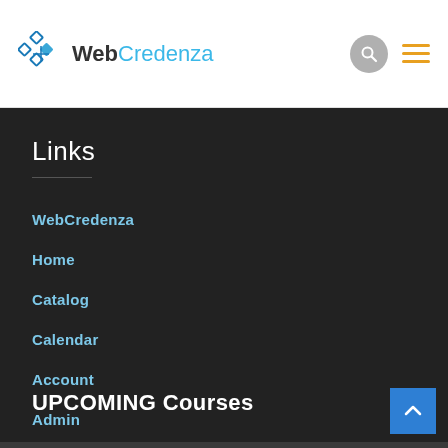WebCredenza
Links
WebCredenza
Home
Catalog
Calendar
Account
Admin
UPCOMING Courses